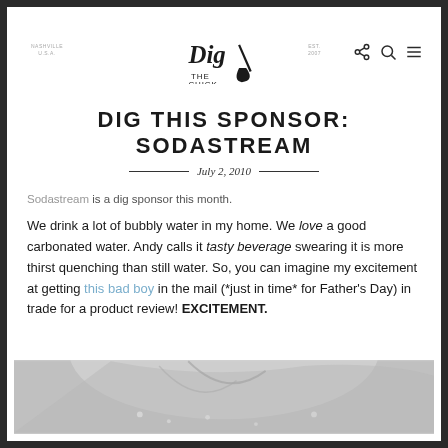Dig the Chick — navigation header with logo, share, search, and menu icons
DIG THIS SPONSOR: SODASTREAM
July 2, 2010
Sodastream is a dig sponsor this month.
We drink a lot of bubbly water in my home. We love a good carbonated water. Andy calls it tasty beverage swearing it is more thirst quenching than still water. So, you can imagine my excitement at getting this bad boy in the mail (*just in time* for Father's Day) in trade for a product review! EXCITEMENT.
[Figure (photo): Close-up photo of a carbonated water bottle, grayscale, showing bubbles and curved glass.]